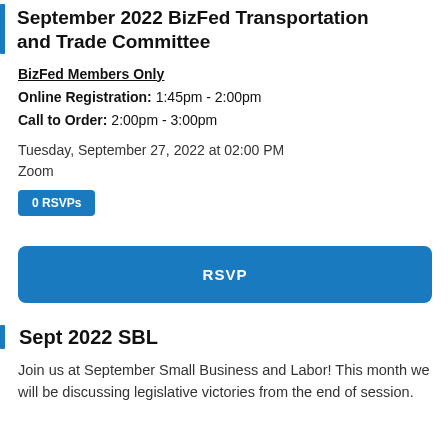September 2022 BizFed Transportation and Trade Committee
BizFed Members Only
Online Registration: 1:45pm - 2:00pm
Call to Order: 2:00pm - 3:00pm
Tuesday, September 27, 2022 at 02:00 PM
Zoom
0 RSVPs
RSVP
Sept 2022 SBL
Join us at September Small Business and Labor! This month we will be discussing legislative victories from the end of session.